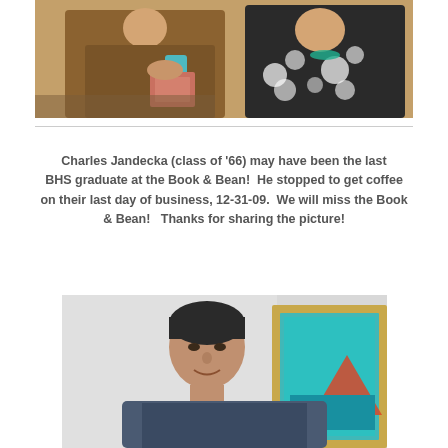[Figure (photo): Two women at Book & Bean coffee shop, one in a brown jacket holding a teal cup with a floral bag, the other in a black and white floral top, brick wall background]
Charles Jandecka (class of '66) may have been the last BHS graduate at the Book & Bean!  He stopped to get coffee on their last day of business, 12-31-09.  We will miss the Book & Bean!   Thanks for sharing the picture!
[Figure (photo): Portrait of a middle-aged man with short dark hair wearing a dark blue sweatshirt, smiling in front of a white wall with a framed artwork visible to his right]